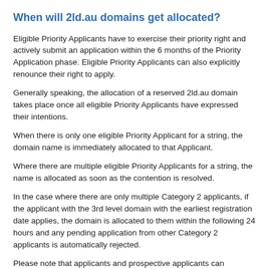When will 2ld.au domains get allocated?
Eligible Priority Applicants have to exercise their priority right and actively submit an application within the 6 months of the Priority Application phase. Eligible Priority Applicants can also explicitly renounce their right to apply.
Generally speaking, the allocation of a reserved 2ld.au domain takes place once all eligible Priority Applicants have expressed their intentions.
When there is only one eligible Priority Applicant for a string, the domain name is immediately allocated to that Applicant.
Where there are multiple eligible Priority Applicants for a string, the name is allocated as soon as the contention is resolved.
In the case where there are only multiple Category 2 applicants, if the applicant with the 3rd level domain with the earliest registration date applies, the domain is allocated to them within the following 24 hours and any pending application from other Category 2 applicants is automatically rejected.
Please note that applicants and prospective applicants can